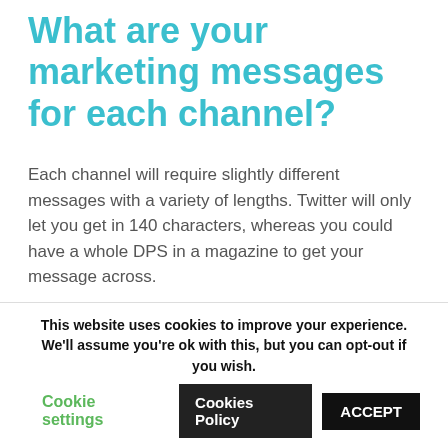What are your marketing messages for each channel?
Each channel will require slightly different messages with a variety of lengths. Twitter will only let you get in 140 characters, whereas you could have a whole DPS in a magazine to get your message across.
This website uses cookies to improve your experience. We'll assume you're ok with this, but you can opt-out if you wish.